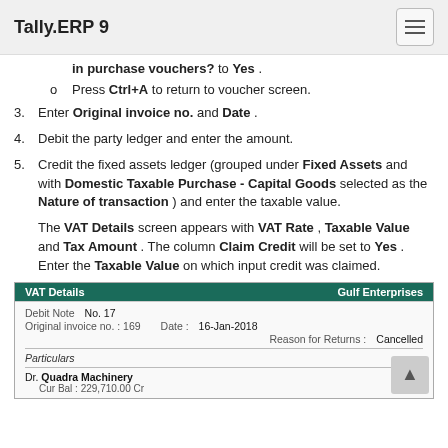Tally.ERP 9
in purchase vouchers? to Yes .
Press Ctrl+A to return to voucher screen.
3. Enter Original invoice no. and Date .
4. Debit the party ledger and enter the amount.
5. Credit the fixed assets ledger (grouped under Fixed Assets and with Domestic Taxable Purchase - Capital Goods selected as the Nature of transaction ) and enter the taxable value.
The VAT Details screen appears with VAT Rate , Taxable Value and Tax Amount . The column Claim Credit will be set to Yes . Enter the Taxable Value on which input credit was claimed.
[Figure (screenshot): VAT Details screen for Gulf Enterprises showing Debit Note No. 17, Original invoice no. 169, Date 16-Jan-2018, Reason for Returns: Cancelled, Particulars section with Dr. Quadra Machinery, Cur Bal: 229,710.00 Cr]